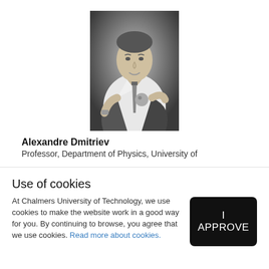[Figure (photo): Black and white portrait photo of Alexandre Dmitriev, a man in a white shirt and tie holding a metallic ball]
Alexandre Dmitriev
Professor, Department of Physics, University of
Use of cookies
At Chalmers University of Technology, we use cookies to make the website work in a good way for you. By continuing to browse, you agree that we use cookies. Read more about cookies.